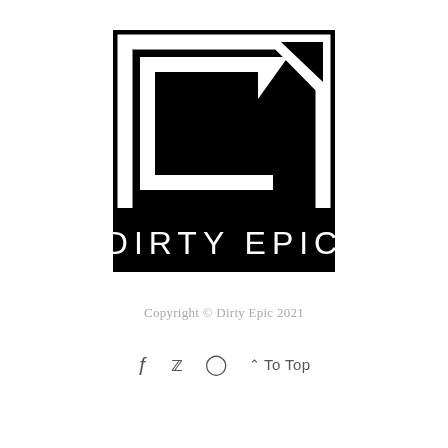[Figure (logo): Dirty Epic logo — black square with geometric angular white lines forming a stylized arrow/back symbol, with text 'DIRTY EPIC' in white block letters at the bottom inside the black square]
Copyright © Dirty Epic 2021
f  (twitter) (instagram)  ^ To Top